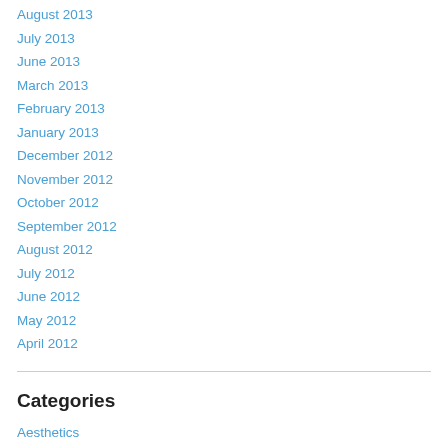August 2013
July 2013
June 2013
March 2013
February 2013
January 2013
December 2012
November 2012
October 2012
September 2012
August 2012
July 2012
June 2012
May 2012
April 2012
Categories
Aesthetics